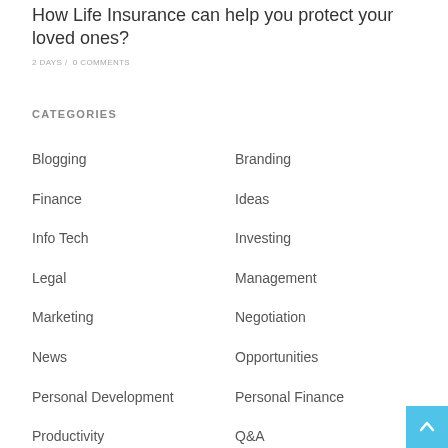How Life Insurance can help you protect your loved ones?
2 DAYS / 0 COMMENTS
CATEGORIES
Blogging
Branding
Finance
Ideas
Info Tech
Investing
Legal
Management
Marketing
Negotiation
News
Opportunities
Personal Development
Personal Finance
Productivity
Q&A